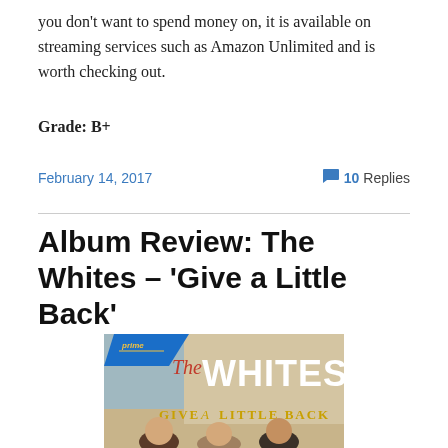you don't want to spend money on, it is available on streaming services such as Amazon Unlimited and is worth checking out.
Grade: B+
February 14, 2017
10 Replies
Album Review: The Whites – 'Give a Little Back'
[Figure (photo): Album cover for The Whites – Give a Little Back, showing the Prime Video logo, large text 'The WHITES' and 'GIVE A LITTLE BACK' below, with people visible at the bottom]